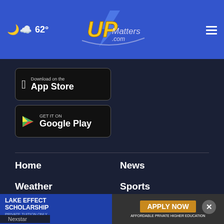62° UPMatters.com
[Figure (screenshot): Download on the App Store button - black rounded rectangle with Apple logo]
[Figure (screenshot): GET IT ON Google Play button - black rounded rectangle with Google Play logo]
Home
News
Weather
Sports
EEO Report   WJMN FCC Public File
Nexstar
[Figure (infographic): Lake Effect Scholarship advertisement banner: 'LAKE EFFECT SCHOLARSHIP PRIVATE TUITION ONLY $2,500 PER YEAR' on left in blue, 'APPLY NOW AFFORDABLE PRIVATE HIGHER EDUCATION' on right with gold button]